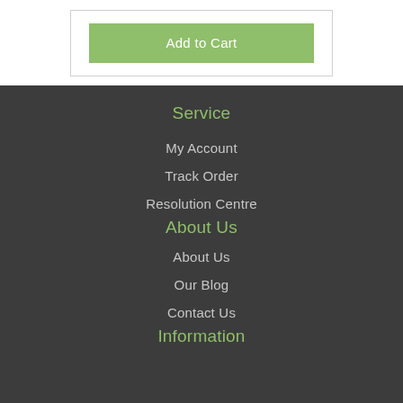Add to Cart
Service
My Account
Track Order
Resolution Centre
About Us
About Us
Our Blog
Contact Us
Information